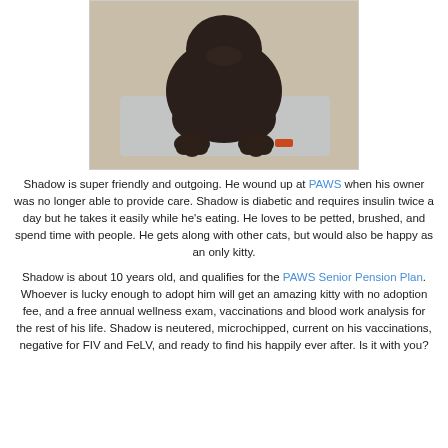[Figure (photo): Close-up photo of a dark brown/black cat sitting, showing its front paws and lower body on a light surface]
Shadow is super friendly and outgoing. He wound up at PAWS when his owner was no longer able to provide care. Shadow is diabetic and requires insulin twice a day but he takes it easily while he's eating. He loves to be petted, brushed, and spend time with people. He gets along with other cats, but would also be happy as an only kitty.
Shadow is about 10 years old, and qualifies for the PAWS Senior Pension Plan. Whoever is lucky enough to adopt him will get an amazing kitty with no adoption fee, and a free annual wellness exam, vaccinations and blood work analysis for the rest of his life. Shadow is neutered, microchipped, current on his vaccinations, negative for FIV and FeLV, and ready to find his happily ever after. Is it with you?